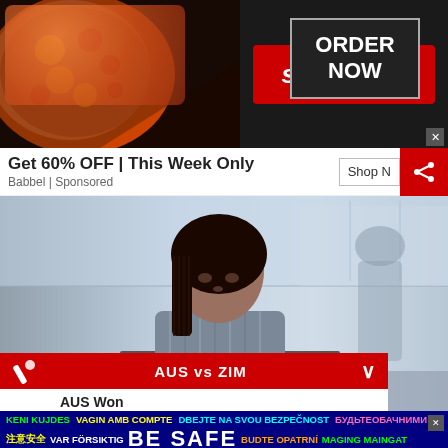[Figure (photo): Seamless food delivery advertisement banner with pizza image on left, seamless logo in center on red background, ORDER NOW text in dark box on right]
Get 60% OFF | This Week Only
Babbel | Sponsored
[Figure (photo): Woman with braided hair working on laptop in modern office environment, another person visible in background]
AUS vs ZIM
AUS Won
[Figure (infographic): BE SAFE multilingual safety banner on dark blue/navy background with the phrase BE SAFE prominent in white, surrounded by translations in multiple languages and colors: KENI KUJDES, VAGIN AMB COMPTE, DBEJTE NA SVOU BEZPECNOST, БУДЬТЕ ОБАЧНИМИ, 注意安全, VAR FÖRSIKTIG, BUDTE OPATRNI, MAGING MAINGAT, SEIEN SIE VORSICHTIG, HOLD DEG TRYGG, BADBAADO AHOW, ZACHOWAJ BEZPIECZENSTWO]